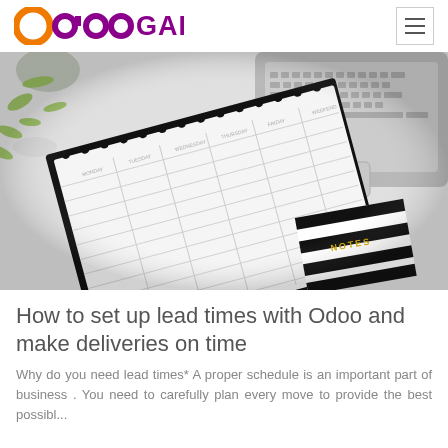OdooGAP
[Figure (photo): Overhead desk flatlay showing a spiral-bound weekly planner/schedule notebook open to a blank grid page, a laptop keyboard, a striped NOTES notebook, and a green plant, all on a white surface.]
How to set up lead times with Odoo and make deliveries on time
Why do you need lead times* A proper schedule is an important part of business . You need to carefully plan every move to provide the best possibl...